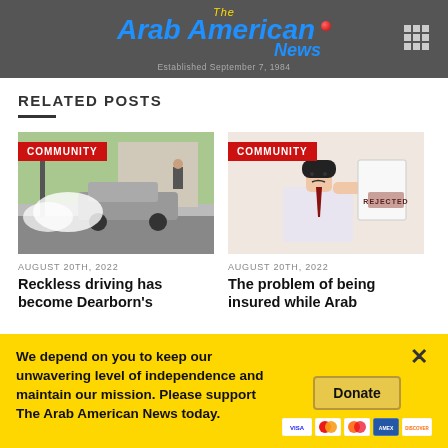The Arab American News — Established September 7, 1984
RELATED POSTS
[Figure (photo): Car doing burnout on street with smoke, labeled COMMUNITY]
AUGUST 20TH, 2022
Reckless driving has become Dearborn's
[Figure (illustration): Animated man holding rejected paper, labeled COMMUNITY]
AUGUST 20TH, 2022
The problem of being insured while Arab
We depend on you to keep our unwavering level of independence and maintain our mission. Please support The Arab American News today.